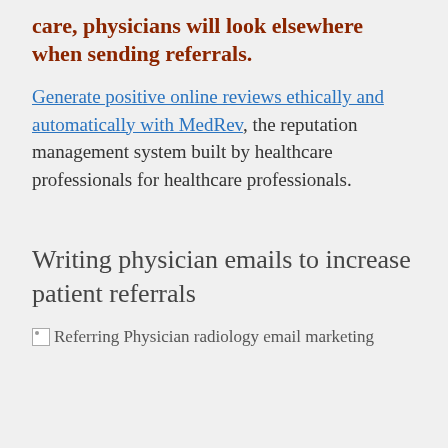care, physicians will look elsewhere when sending referrals.
Generate positive online reviews ethically and automatically with MedRev, the reputation management system built by healthcare professionals for healthcare professionals.
Writing physician emails to increase patient referrals
[Figure (other): Broken image placeholder labeled 'Referring Physician radiology email marketing']